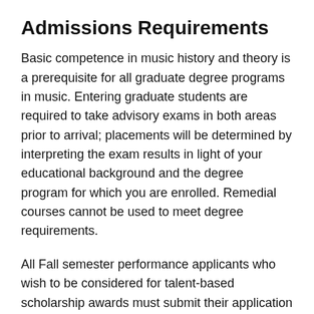Admissions Requirements
Basic competence in music history and theory is a prerequisite for all graduate degree programs in music. Entering graduate students are required to take advisory exams in both areas prior to arrival; placements will be determined by interpreting the exam results in light of your educational background and the degree program for which you are enrolled. Remedial courses cannot be used to meet degree requirements.
All Fall semester performance applicants who wish to be considered for talent-based scholarship awards must submit their application materials by January 6. Once